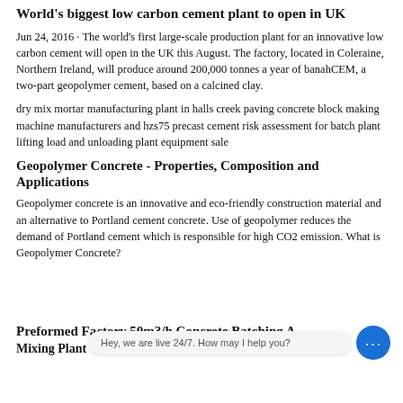World's biggest low carbon cement plant to open in UK
Jun 24, 2016 · The world's first large-scale production plant for an innovative low carbon cement will open in the UK this August. The factory, located in Coleraine, Northern Ireland, will produce around 200,000 tonnes a year of banahCEM, a two-part geopolymer cement, based on a calcined clay.
dry mix mortar manufacturing plant in halls creek paving concrete block making machine manufacturers and hzs75 precast cement risk assessment for batch plant lifting load and unloading plant equipment sale
Geopolymer Concrete - Properties, Composition and Applications
Geopolymer concrete is an innovative and eco-friendly construction material and an alternative to Portland cement concrete. Use of geopolymer reduces the demand of Portland cement which is responsible for high CO2 emission. What is Geopolymer Concrete?
Preformed Factory 50m3/h Concrete Batching And Mixing Plant